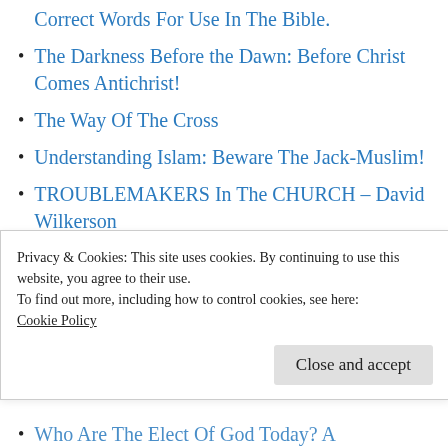Correct Words For Use In The Bible.
The Darkness Before the Dawn: Before Christ Comes Antichrist!
The Way Of The Cross
Understanding Islam: Beware The Jack-Muslim!
TROUBLEMAKERS In The CHURCH – David Wilkerson
The Judgment Seat of Christ – L. Ravenhill
Why Did The ‘Resurrection Of The Just’ Need A New Name: ‘The Rapture’?
Privacy & Cookies: This site uses cookies. By continuing to use this website, you agree to their use.
To find out more, including how to control cookies, see here: Cookie Policy
Who Are The Elect Of God Today? A